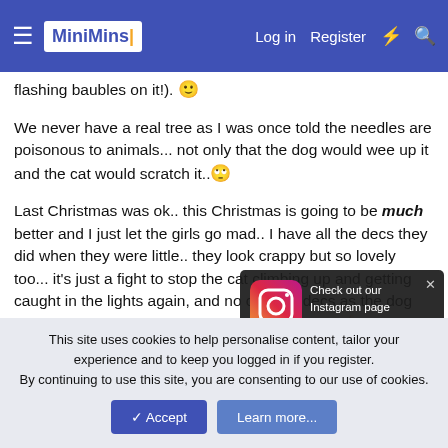MiniMins | Log in | Register
flashing baubles on it!). [emoji]
We never have a real tree as I was once told the needles are poisonous to animals... not only that the dog would wee up it and the cat would scratch it.. [emoji]
Last Christmas was ok.. this Christmas is going to be much better and I just let the girls go mad.. I have all the decs they did when they were little.. they look crappy but so lovely too... it's just a fight to stop the cat climbing up and getting caught in the lights again, and no choccie decs as the dog demolishes everything if he gets a sniff of food!! [emoji]
Not so keen on the poster but would be great if you lived on a boat or in a tent I spose [emoji]
[Figure (infographic): Instagram popup notification: Instagram icon on left, text reads 'Check out our Instagram page MiniMinsDotCom for new content, recipies, ideas and motivation!' with a close (x) button]
This site uses cookies to help personalise content, tailor your experience and to keep you logged in if you register.
By continuing to use this site, you are consenting to our use of cookies.
✓ Accept | Learn more...